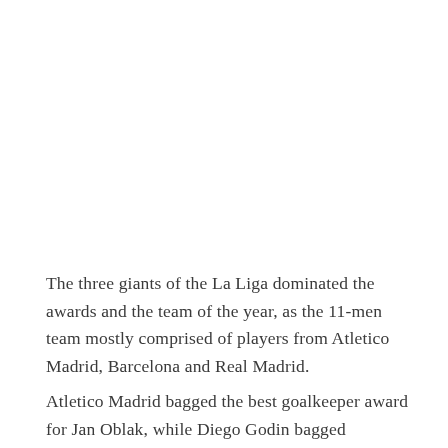The three giants of the La Liga dominated the awards and the team of the year, as the 11-men team mostly comprised of players from Atletico Madrid, Barcelona and Real Madrid.
Atletico Madrid bagged the best goalkeeper award for Jan Oblak, while Diego Godin bagged